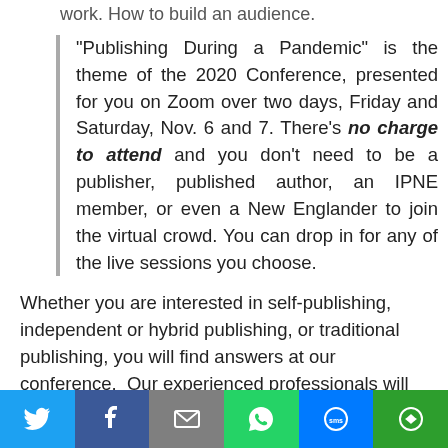work. How to build an audience.
“Publishing During a Pandemic” is the theme of the 2020 Conference, presented for you on Zoom over two days, Friday and Saturday, Nov. 6 and 7. There’s no charge to attend and you don’t need to be a publisher, published author, an IPNE member, or even a New Englander to join the virtual crowd. You can drop in for any of the live sessions you choose.
Whether you are interested in self-publishing, independent or hybrid publishing, or traditional publishing, you will find answers at our conference.  Our experienced professionals will be presenting hour-long workshops on such topics as:
publicity and marketing * podcasting * book cover design  * metadata * ISBN * the book